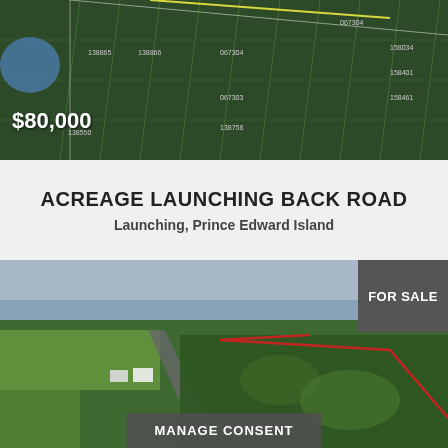[Figure (map): Aerial/cadastral map view showing land parcels with parcel numbers, green fields. Price overlay $80,000 in white text bottom-left.]
ACREAGE LAUNCHING BACK ROAD
Launching, Prince Edward Island
[Figure (photo): Aerial drone photo of wooded acreage in Launching, PEI. A road runs diagonally, red boundary lines outline the property, ocean visible in background. 'FOR SALE' badge top-right. 'MANAGE CONSENT' button bottom-center. Partial price text '$1 1 0,000' visible at bottom-left.]